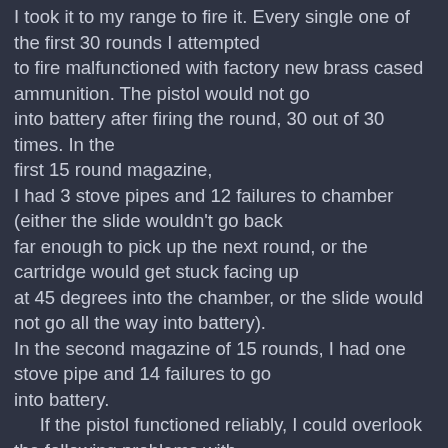I took it to my range to fire it.  Every single one of the first 30 rounds I attempted to fire malfunctioned with factory new brass cased ammunition.  The pistol would not go into battery after firing the round, 30 out of 30 times.  In the first 15 round magazine, I had 3 stove pipes and 12 failures to chamber (either the slide wouldn't go back far enough to pick up the next round, or the cartridge would get stuck facing up at 45 degrees into the chamber, or the slide would not go all the way into battery). In the second magazine of 15 rounds, I had one stove pipe and 14 failures to go into battery.
     If the pistol functioned reliably, I could overlook the following problems with the pistol:
     The bore was not smooth and glassy.  The bore had a rough surface finish.
     The grip is too smooth and slippery.  Holding the pistol in your right hand, it is very easy to the pistol rotating under recoil...